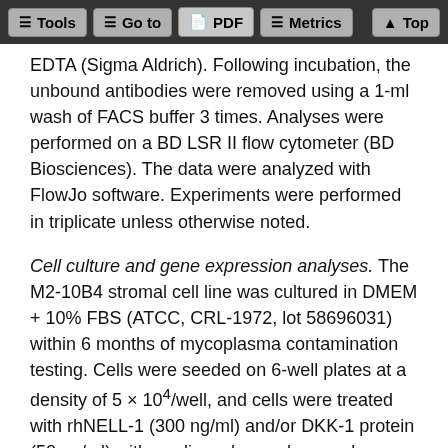Tools | Go to | PDF | Metrics | Top
EDTA (Sigma Aldrich). Following incubation, the unbound antibodies were removed using a 1-ml wash of FACS buffer 3 times. Analyses were performed on a BD LSR II flow cytometer (BD Biosciences). The data were analyzed with FlowJo software. Experiments were performed in triplicate unless otherwise noted.
Cell culture and gene expression analyses. The M2-10B4 stromal cell line was cultured in DMEM + 10% FBS (ATCC, CRL-1972, lot 58696031) within 6 months of mycoplasma contamination testing. Cells were seeded on 6-well plates at a density of 5 × 10⁴/well, and cells were treated with rhNELL-1 (300 ng/ml) and/or DKK-1 protein (50 ng/ml) with medium changed every day. Gene expression was analyzed at the indicated time point by qRT-PCR. RNA was